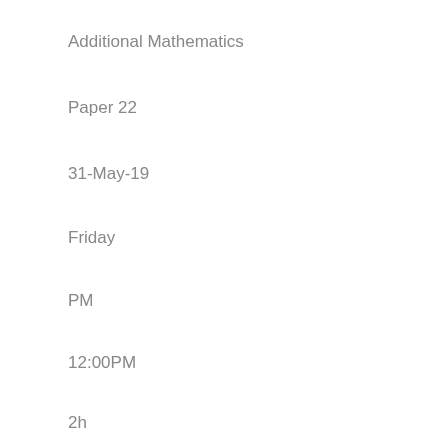Additional Mathematics
Paper 22
31-May-19
Friday
PM
12:00PM
2h
3:00PM
GCE O Level
2217/23
Geography
Investigation and Skills 23